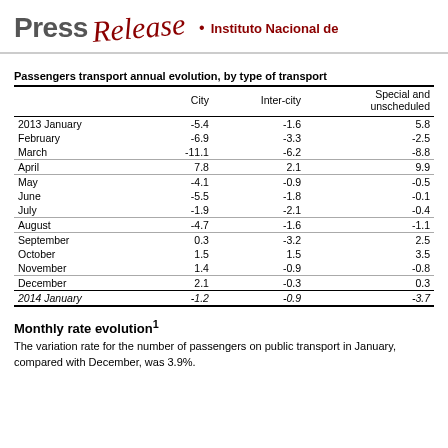Press Release • Instituto Nacional de
Passengers transport annual evolution, by type of transport
|  | City | Inter-city | Special and unscheduled |
| --- | --- | --- | --- |
| 2013 January | -5.4 | -1.6 | 5.8 |
| February | -6.9 | -3.3 | -2.5 |
| March | -11.1 | -6.2 | -8.8 |
| April | 7.8 | 2.1 | 9.9 |
| May | -4.1 | -0.9 | -0.5 |
| June | -5.5 | -1.8 | -0.1 |
| July | -1.9 | -2.1 | -0.4 |
| August | -4.7 | -1.6 | -1.1 |
| September | 0.3 | -3.2 | 2.5 |
| October | 1.5 | 1.5 | 3.5 |
| November | 1.4 | -0.9 | -0.8 |
| December | 2.1 | -0.3 | 0.3 |
| 2014 January | -1.2 | -0.9 | -3.7 |
Monthly rate evolution¹
The variation rate for the number of passengers on public transport in January, compared with December, was 3.9%.